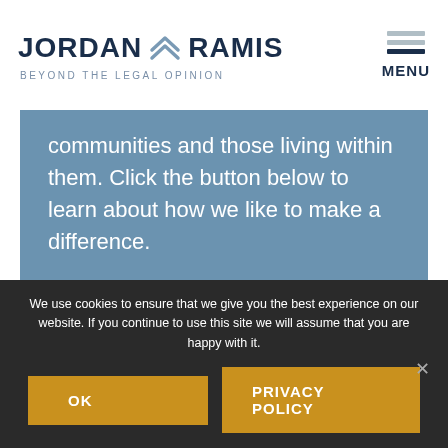[Figure (logo): Jordan Ramis law firm logo with chevron icon and tagline BEYOND THE LEGAL OPINION]
[Figure (other): Hamburger menu icon with three horizontal lines and MENU label]
communities and those living within them. Click the button below to learn about how we like to make a difference.
LEARN MORE
We use cookies to ensure that we give you the best experience on our website. If you continue to use this site we will assume that you are happy with it.
OK
PRIVACY POLICY